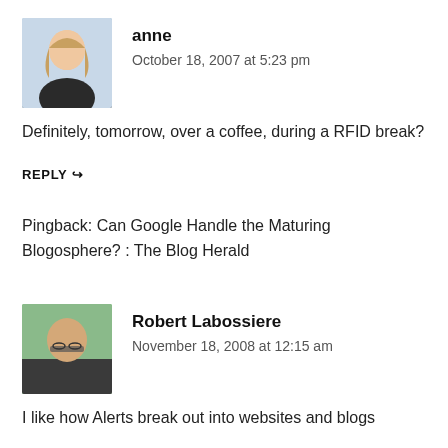[Figure (photo): Avatar photo of commenter anne — woman with blonde hair smiling]
anne
October 18, 2007 at 5:23 pm
Definitely, tomorrow, over a coffee, during a RFID break?
REPLY ↪
Pingback: Can Google Handle the Maturing Blogosphere? : The Blog Herald
[Figure (photo): Avatar photo of commenter Robert Labossiere — man with glasses outdoors]
Robert Labossiere
November 18, 2008 at 12:15 am
I like how Alerts break out into websites and blogs